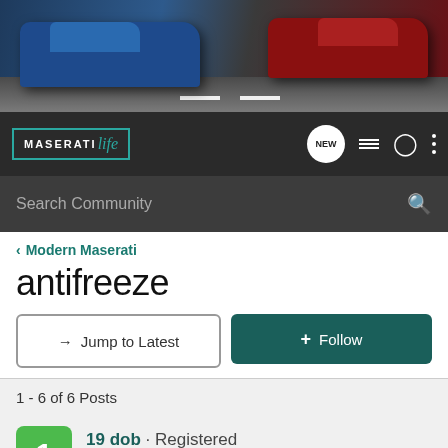[Figure (photo): Hero banner showing two Maserati cars (blue and red) driving on a road]
[Figure (screenshot): MaseratiLife forum navigation bar with logo, NEW chat bubble, list icon, user icon, and menu icon]
Search Community
< Modern Maserati
antifreeze
→ Jump to Latest
+ Follow
1 - 6 of 6 Posts
19 dob · Registered
Joined Aug 22, 2008 · 13 Posts